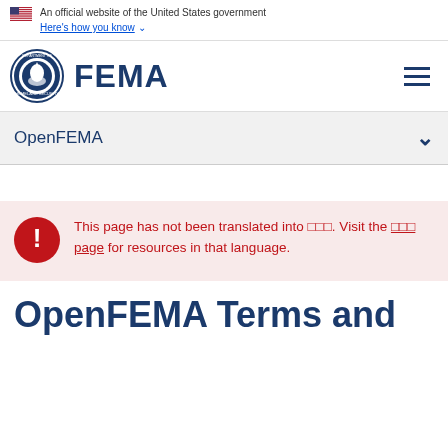An official website of the United States government Here's how you know
[Figure (logo): FEMA seal and wordmark logo with hamburger menu]
OpenFEMA
This page has not been translated into □□□. Visit the □□□ page for resources in that language.
OpenFEMA Terms and Conditions